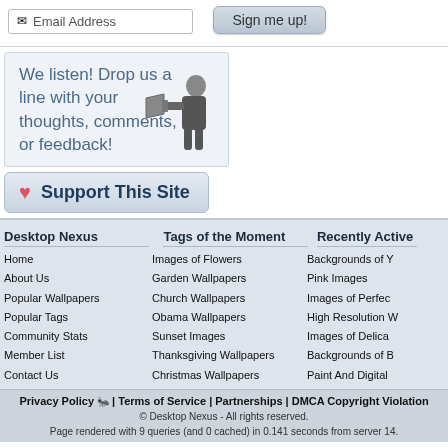[Figure (screenshot): Email address input box with envelope icon and placeholder text 'Email Address']
[Figure (screenshot): Button labeled 'Sign me up!']
We listen! Drop us a line with your thoughts, comments, or feedback!
[Figure (illustration): Black and white illustration of a man shouting through a megaphone]
❤ Support This Site
Desktop Nexus
Home
About Us
Popular Wallpapers
Popular Tags
Community Stats
Member List
Contact Us
Tags of the Moment
Images of Flowers
Garden Wallpapers
Church Wallpapers
Obama Wallpapers
Sunset Images
Thanksgiving Wallpapers
Christmas Wallpapers
Recently Active
Backgrounds of Y
Pink Images
Images of Perfec
High Resolution W
Images of Delica
Backgrounds of B
Paint And Digital
Privacy Policy | Terms of Service | Partnerships | DMCA Copyright Violation
© Desktop Nexus - All rights reserved. Page rendered with 9 queries (and 0 cached) in 0.141 seconds from server 14.